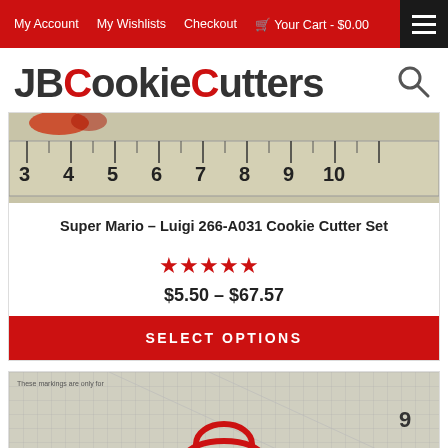My Account | My Wishlists | Checkout | Your Cart - $0.00
[Figure (logo): JBCookieCutters logo with red C letters and search icon]
[Figure (photo): Product photo showing cookie cutters on a ruler measuring grid, numbers 3 through 10 visible]
Super Mario – Luigi 266-A031 Cookie Cutter Set
[Figure (other): Five red star rating]
$5.50 – $67.57
SELECT OPTIONS
[Figure (photo): Bottom product photo showing cookie cutter on grid cutting mat with red shape visible]